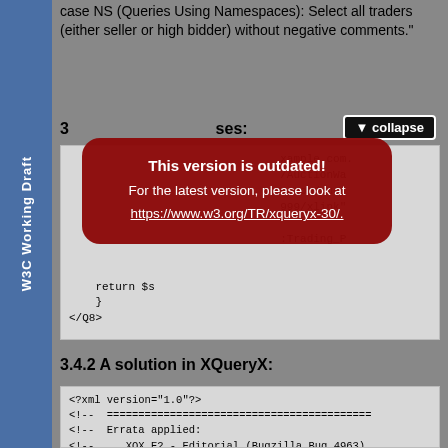W3C Working Draft
case NS (Queries Using Namespaces): Select all traders (either seller or high bidder) without negative comments."
3 [truncated] ses:
▼ collapse
[Figure (other): Red overlay notification box: 'This version is outdated! For the latest version, please look at https://www.w3.org/TR/xqueryx-30/.']
return $s
    }
</Q8>
3.4.2 A solution in XQueryX:
<?xml version="1.0"?>
<!--  ===================================================
<!--  Errata applied:
<!--     XQX.E2 - Editorial (Bugzilla Bug 4963)
<!--  ===================================================
<xqx:module xmlns:xqx="http://www.w3.org/2005/
            xmlns:xsi="http://www.w3.org/2001/